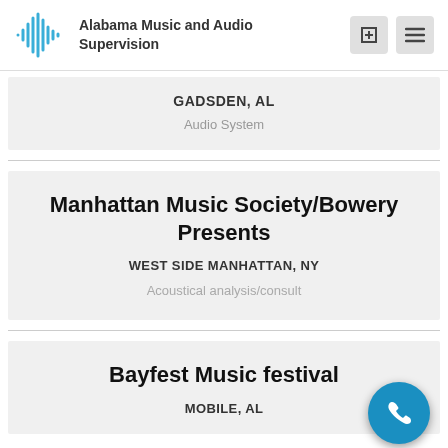Alabama Music and Audio Supervision
GADSDEN, AL
Audio System
Manhattan Music Society/Bowery Presents
WEST SIDE MANHATTAN, NY
Acoustical analysis/consult
Bayfest Music festival
MOBILE, AL